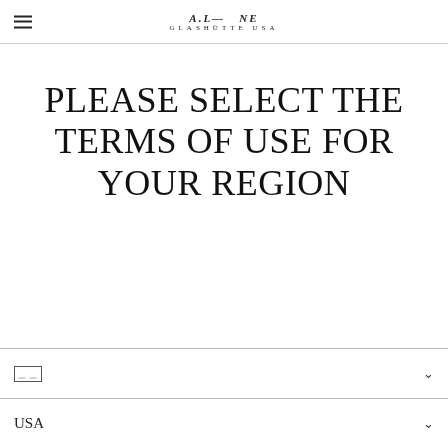A. Lange & Söhne Glashütte USA
PLEASE SELECT THE TERMS OF USE FOR YOUR REGION
🇩🇪
USA